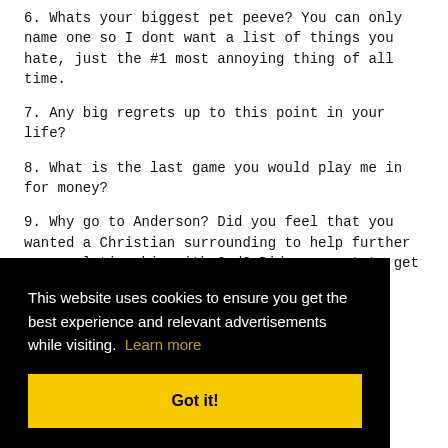6. Whats your biggest pet peeve? You can only name one so I dont want a list of things you hate, just the #1 most annoying thing of all time.
7. Any big regrets up to this point in your life?
8. What is the last game you would play me in for money?
9. Why go to Anderson? Did you feel that you wanted a Christian surrounding to help further your relationship with God? Did you want to get away from GB? Pressure from [text cut off by overlay] nk a
[partially obscured] t play a than
[partially obscured] eas.
worked really hard at a lot of things to be where you are now. However, have you ever really failed at something
This website uses cookies to ensure you get the best experience and relevant advertisements while visiting. Learn more
Got it!